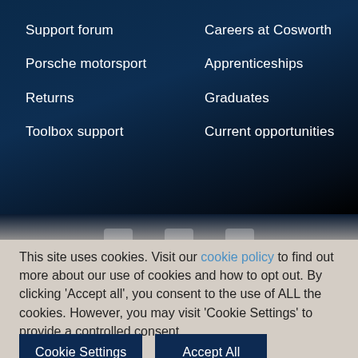Support forum
Porsche motorsport
Returns
Toolbox support
Careers at Cosworth
Apprenticeships
Graduates
Current opportunities
This site uses cookies. Visit our cookie policy to find out more about our use of cookies and how to opt out. By clicking 'Accept all', you consent to the use of ALL the cookies. However, you may visit 'Cookie Settings' to provide a controlled consent.